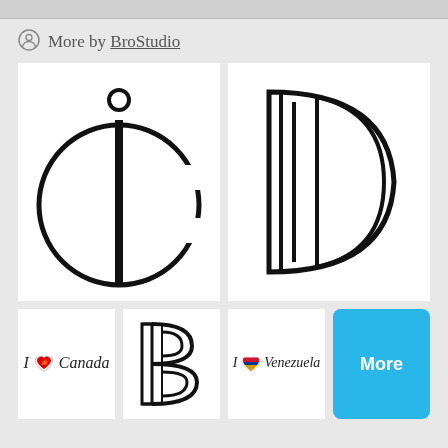More by BroStudio
[Figure (logo): Decorative letter C with letter i monogram logo outline]
[Figure (logo): Decorative letter D with double vertical lines logo outline]
[Figure (illustration): I love Canada text with red maple leaf heart]
[Figure (logo): Decorative letter B with double lines logo outline]
[Figure (illustration): I love Venezuela text with Venezuelan flag heart]
More